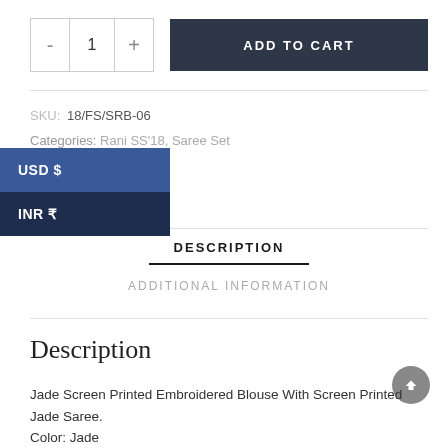[Figure (screenshot): E-commerce product page showing quantity selector with minus, 1, plus buttons and a dark 'ADD TO CART' button]
SKU: 18/FS/SRB-06
Categories: Rani SS'18, Saree Set
[Figure (screenshot): Currency dropdown overlay showing USD $ and INR ₹ options in dark blue]
DESCRIPTION
ADDITIONAL INFORMATION
Description
Jade Screen Printed Embroidered Blouse With Screen Printed Jade Saree.
Color: Jade